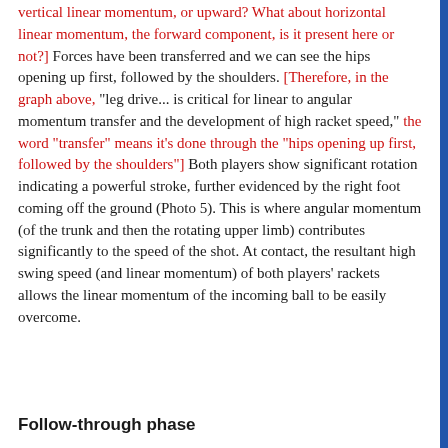vertical linear momentum, or upward? What about horizontal linear momentum, the forward component, is it present here or not?] Forces have been transferred and we can see the hips opening up first, followed by the shoulders. [Therefore, in the graph above, “leg drive... is critical for linear to angular momentum transfer and the development of high racket speed,” the word “transfer” means it’s done through the “hips opening up first, followed by the shoulders”] Both players show significant rotation indicating a powerful stroke, further evidenced by the right foot coming off the ground (Photo 5). This is where angular momentum (of the trunk and then the rotating upper limb) contributes significantly to the speed of the shot. At contact, the resultant high swing speed (and linear momentum) of both players’ rackets allows the linear momentum of the incoming ball to be easily overcome.
Follow-through phase